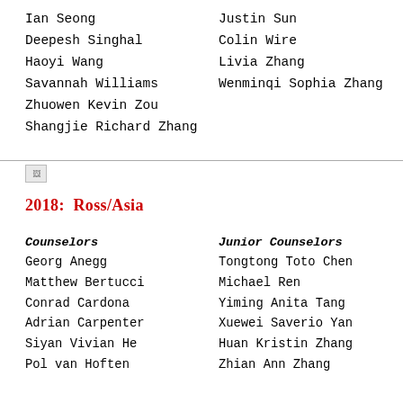Ian Seong
Deepesh Singhal
Haoyi Wang
Savannah Williams
Zhuowen Kevin Zou
Shangjie Richard Zhang
Justin Sun
Colin Wire
Livia Zhang
Wenminqi Sophia Zhang
[Figure (other): Small image placeholder icon]
2018: Ross/Asia
Counselors
Junior Counselors
Georg Anegg
Matthew Bertucci
Conrad Cardona
Adrian Carpenter
Siyan Vivian He
Pol van Hoften
Tongtong Toto Chen
Michael Ren
Yiming Anita Tang
Xuewei Saverio Yan
Huan Kristin Zhang
Zhian Ann Zhang